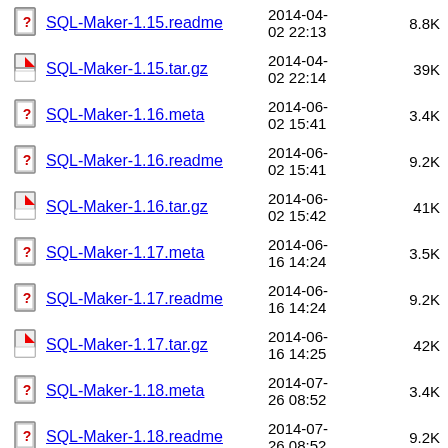SQL-Maker-1.15.readme  2014-04-02 22:13  8.8K
SQL-Maker-1.15.tar.gz  2014-04-02 22:14  39K
SQL-Maker-1.16.meta  2014-06-02 15:41  3.4K
SQL-Maker-1.16.readme  2014-06-02 15:41  9.2K
SQL-Maker-1.16.tar.gz  2014-06-02 15:42  41K
SQL-Maker-1.17.meta  2014-06-16 14:24  3.5K
SQL-Maker-1.17.readme  2014-06-16 14:24  9.2K
SQL-Maker-1.17.tar.gz  2014-06-16 14:25  42K
SQL-Maker-1.18.meta  2014-07-26 08:52  3.4K
SQL-Maker-1.18.readme  2014-07-26 08:52  9.2K
SQL-Maker-1.18.tar.gz  2014-07-26 08:57  42K
SQL-Maker-1.19.meta  2014-07-  3.4K